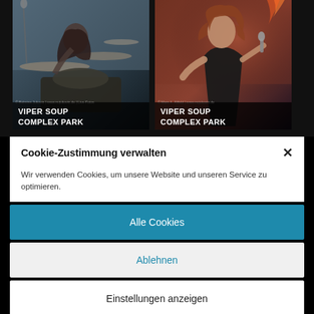[Figure (photo): Concert photo of a drummer with long hair playing drums on stage, dark moody lighting]
VIPER SOUP
COMPLEX PARK
[Figure (photo): Concert photo of a female singer performing on stage with dramatic orange/red lighting, holding a microphone]
VIPER SOUP
COMPLEX PARK
Cookie-Zustimmung verwalten
Wir verwenden Cookies, um unsere Website und unseren Service zu optimieren.
Alle Cookies
Ablehnen
Einstellungen anzeigen